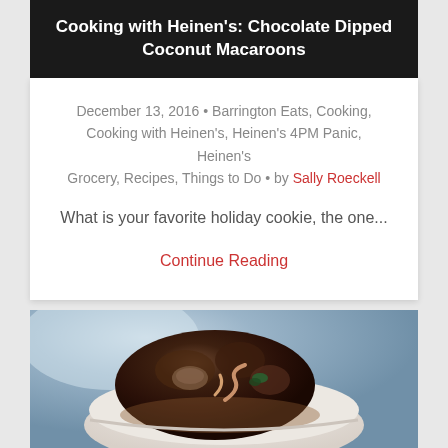Cooking with Heinen's: Chocolate Dipped Coconut Macaroons
December 13, 2016 • Barrington Eats, Cooking, Cooking with Heinen's, Heinen's 4PM Panic, Heinen's Grocery, Recipes, Things to Do • by Sally Roeckell
What is your favorite holiday cookie, the one...
Continue Reading
[Figure (photo): Close-up photo of braised meat dish served in a white bowl with pasta and garnish, on a light blue background]